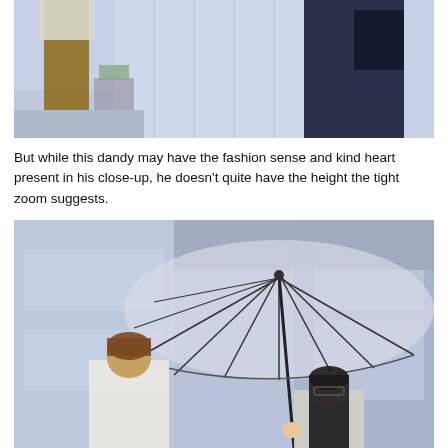[Figure (photo): Close-up street photo of two people from waist down. One person wearing brown/khaki trousers on the left, another in dark navy suit on the right. Blueish-purple tinted urban background.]
But while this dandy may have the fashion sense and kind heart present in his close-up, he doesn't quite have the height the tight zoom suggests.
[Figure (photo): Outdoor photo of two people sharing a large transparent umbrella. One person with short brown hair wearing white shirt seen from behind/side, another shorter person with long black hair and glasses holding the umbrella handle. Blueish urban setting with building in background.]